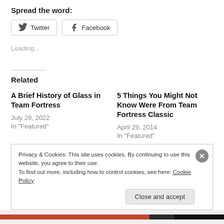Spread the word:
[Figure (other): Social sharing buttons: Twitter and Facebook]
Loading...
Related
A Brief History of Glass in Team Fortress
July 29, 2022
In "Featured"
5 Things You Might Not Know Were From Team Fortress Classic
April 29, 2014
In "Featured"
Privacy & Cookies: This site uses cookies. By continuing to use this website, you agree to their use.
To find out more, including how to control cookies, see here: Cookie Policy